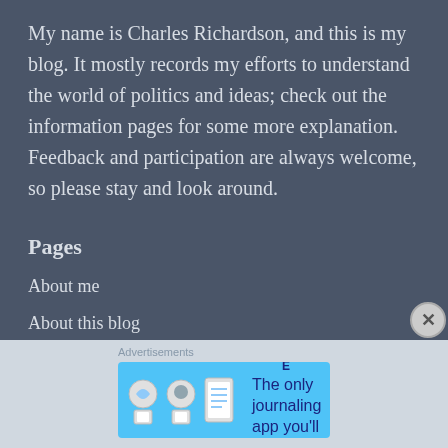My name is Charles Richardson, and this is my blog. It mostly records my efforts to understand the world of politics and ideas; check out the information pages for some more explanation. Feedback and participation are always welcome, so please stay and look around.
Pages
About me
About this blog
Comments policy
Contact
Advertisements
[Figure (other): DAY ONE journaling app advertisement banner with blue background, app icons, and text 'The only journaling app you'll ever need.']